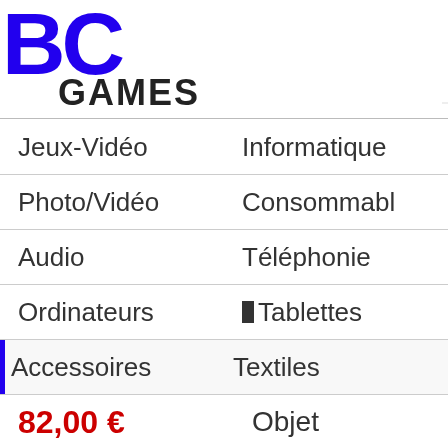[Figure (logo): BC GAMES logo with large blue BC letters and GAMES text below]
Jeux-Vidéo | Informatique
Photo/Vidéo | Consommabl
Audio | Téléphonie
Ordinateurs | Tablettes
Accessoires | Textiles
82,00 € | Objet
Logitech digital pencil * gris